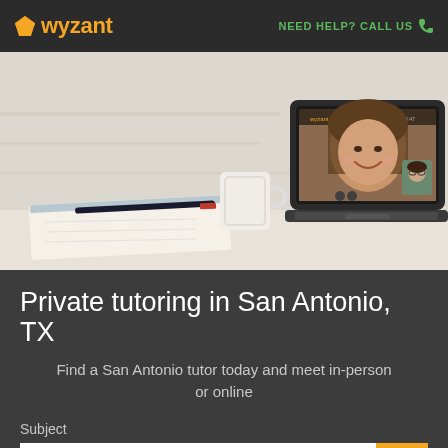wyzant | NEED HELP? CALL US
[Figure (photo): Laptop on a desk showing a video tutoring session with two people. The laptop screen shows the Wyzant online tutoring platform with a smiling woman tutor. A notebook, pen, and coffee mug are on the desk in the background.]
Private tutoring in San Antonio, TX
Find a San Antonio tutor today and meet in-person or online
Subject